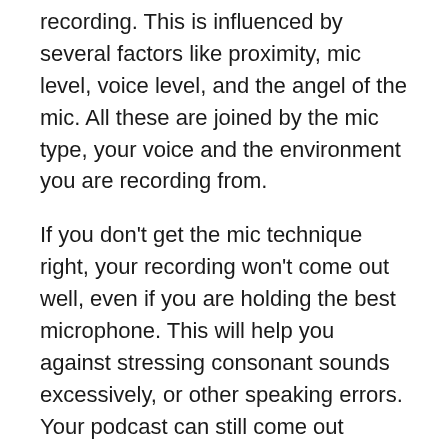recording. This is influenced by several factors like proximity, mic level, voice level, and the angel of the mic. All these are joined by the mic type, your voice and the environment you are recording from.
If you don't get the mic technique right, your recording won't come out well, even if you are holding the best microphone. This will help you against stressing consonant sounds excessively, or other speaking errors. Your podcast can still come out poorly with your poor mic technique; the only remedy is developing good mic techniques.
Read: Best XLR Microphones for Streaming And Podcasting